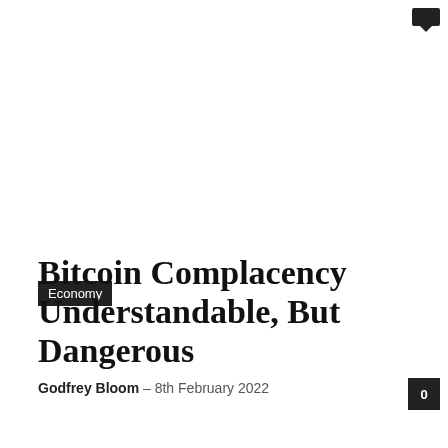Economy
Bitcoin Complacency Understandable, But Dangerous
Godfrey Bloom – 8th February 2022